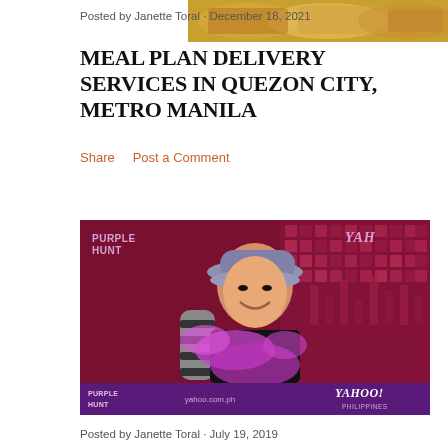[Figure (photo): Food photo thumbnail in upper right corner]
Posted by Janette Toral · December 18, 2021
MEAL PLAN DELIVERY SERVICES IN QUEZON CITY, METRO MANILA
Share    Post a Comment
[Figure (photo): Photo of Janette Toral wearing a purple feather boa and purple hat at a Purple Hunt event sponsored by Yahoo Philippines]
Posted by Janette Toral · July 19, 2019